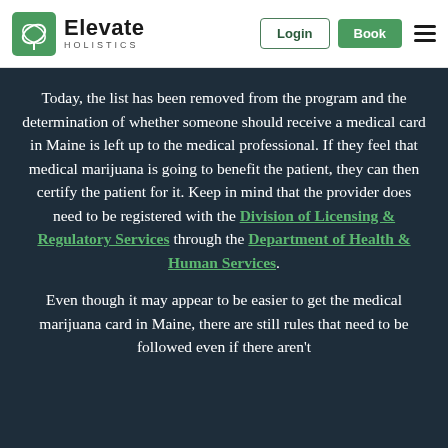Elevate Holistics — Login | Book
Today, the list has been removed from the program and the determination of whether someone should receive a medical card in Maine is left up to the medical professional. If they feel that medical marijuana is going to benefit the patient, they can then certify the patient for it. Keep in mind that the provider does need to be registered with the Division of Licensing & Regulatory Services through the Department of Health & Human Services.
Even though it may appear to be easier to get the medical marijuana card in Maine, there are still rules that need to be followed even if there aren't